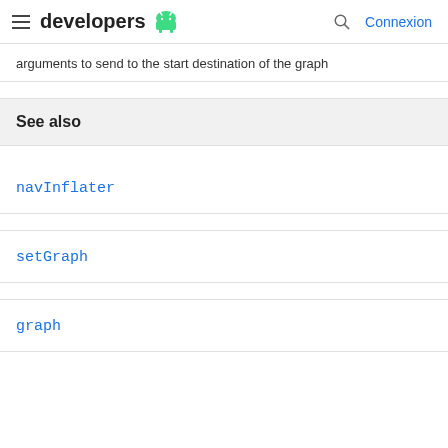developers
arguments to send to the start destination of the graph
See also
navInflater
setGraph
graph